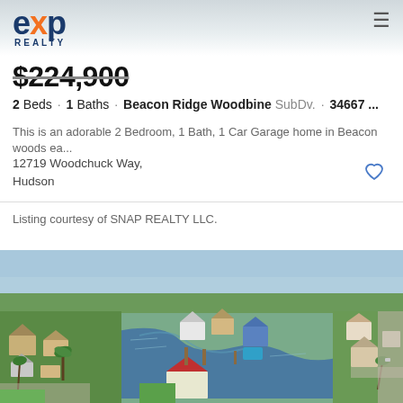eXp REALTY
$224,900
2 Beds · 1 Baths · Beacon Ridge Woodbine SubDv. · 34667 ...
This is an adorable 2 Bedroom, 1 Bath, 1 Car Garage home in Beacon woods ea...
12719 Woodchuck Way,
Hudson
Listing courtesy of SNAP REALTY LLC.
[Figure (photo): Aerial drone photo of a waterfront residential neighborhood in Hudson, FL with canals, boats, green lawns, homes with red and tan roofs, and palm trees.]